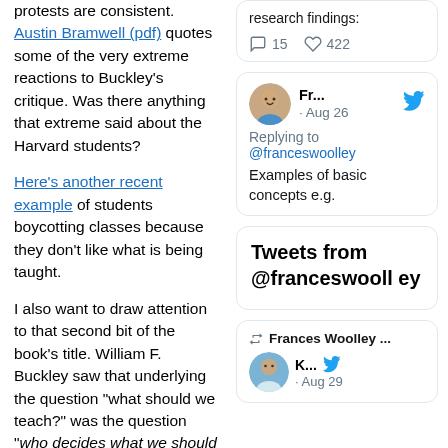protests are consistent. Austin Bramwell (pdf) quotes some of the very extreme reactions to Buckley's critique. Was there anything that extreme said about the Harvard students?
Here's another recent example of students boycotting classes because they don't like what is being taught.
I also want to draw attention to that second bit of the book's title. William F. Buckley saw that underlying the question "what should we teach?" was the question "who decides what we should teach?".
[Figure (screenshot): Twitter/X post stats showing 15 comments and 422 likes with icons]
[Figure (screenshot): Tweet from Fr... dated Aug 26, replying to @franceswoolley, text: Examples of basic concepts e.g.]
[Figure (screenshot): Tweets from @franceswoolley header card]
[Figure (screenshot): Retweet by Frances Woolley ..., tweet from K... with avatar, dated Aug 29]